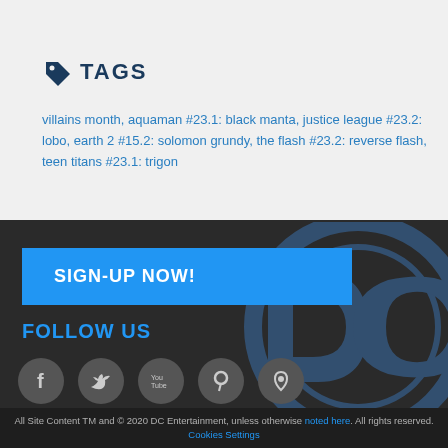TAGS
villains month, aquaman #23.1: black manta, justice league #23.2: lobo, earth 2 #15.2: solomon grundy, the flash #23.2: reverse flash, teen titans #23.1: trigon
SIGN-UP NOW!
FOLLOW US
[Figure (illustration): Social media icons: Facebook, Twitter, YouTube, Pinterest, and a location/pin icon, displayed as grey circles]
[Figure (logo): DC Comics logo watermark in blue, large, partially visible on the right side of the dark footer area]
All Site Content TM and © 2020 DC Entertainment, unless otherwise noted here. All rights reserved. Cookies Settings